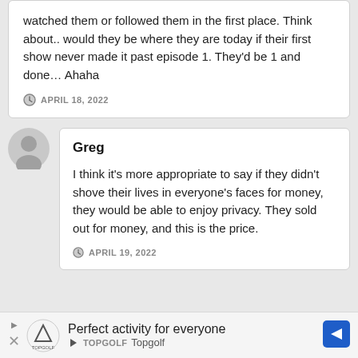watched them or followed them in the first place. Think about.. would they be where they are today if their first show never made it past episode 1. They'd be 1 and done… Ahaha
APRIL 18, 2022
Greg
I think it's more appropriate to say if they didn't shove their lives in everyone's faces for money, they would be able to enjoy privacy. They sold out for money, and this is the price.
APRIL 19, 2022
Perfect activity for everyone
Topgolf